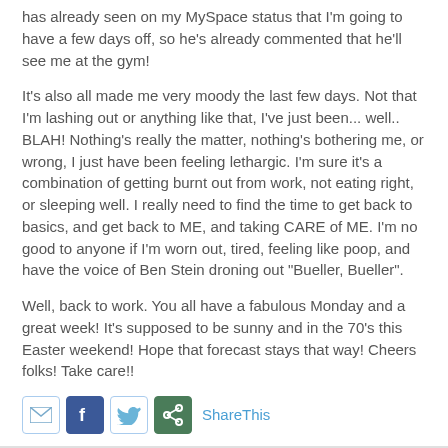has already seen on my MySpace status that I'm going to have a few days off, so he's already commented that he'll see me at the gym!
It's also all made me very moody the last few days. Not that I'm lashing out or anything like that, I've just been... well.. BLAH! Nothing's really the matter, nothing's bothering me, or wrong, I just have been feeling lethargic. I'm sure it's a combination of getting burnt out from work, not eating right, or sleeping well. I really need to find the time to get back to basics, and get back to ME, and taking CARE of ME. I'm no good to anyone if I'm worn out, tired, feeling like poop, and have the voice of Ben Stein droning out "Bueller, Bueller".
Well, back to work. You all have a fabulous Monday and a great week! It's supposed to be sunny and in the 70's this Easter weekend! Hope that forecast stays that way! Cheers folks! Take care!!
[Figure (other): Social sharing icons row: email icon, Facebook icon, Twitter icon, ShareThis icon, followed by 'ShareThis' text link]